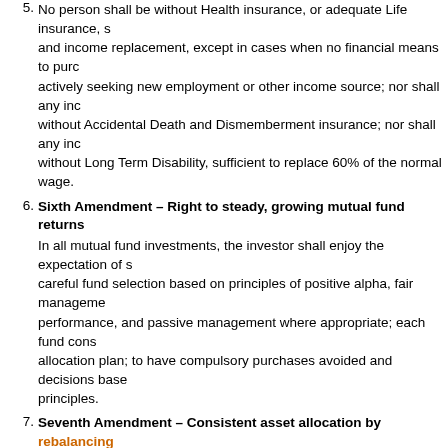Fifth Amendment – Health, life, AD&D and LTD insurance: No person shall be without Health insurance, or adequate Life insurance, sufficient to provide death benefit and income replacement, except in cases when no financial means to purchase; nor shall any individual actively seeking new employment or other income source; nor shall any individual be without Accidental Death and Dismemberment insurance; nor shall any individual be without Long Term Disability, sufficient to replace 60% of the normal wage.
Sixth Amendment – Right to steady, growing mutual fund returns: In all mutual fund investments, the investor shall enjoy the expectation of steady returns through careful fund selection based on principles of positive alpha, fair management fees, consistent performance, and passive management where appropriate; each fund consistent with the allocation plan; to have compulsory purchases avoided and decisions based on fiduciary principles.
Seventh Amendment – Consistent asset allocation by rebalancing: In accordance with a predetermined asset allocation plan, where the values are determined by evaluation of your risk and investing objectives, the right of rebalancing, or reallocating assets which have deviated from their allocation, shall be exercised, and no given asset shall be allowed to overwhelm the returns of other investments, which may result in large, unexpected losses.
Eighth Amendment – Abolishment of excessive management fees: Excessive management fees shall be avoided, nor 12b-1 fees paid, nor front-end or back-end loads paid.
Ninth Amendment – Protection of rights not specifically enumerated in: Where credit cards are used, the enumeration in the Agreement, of certain rights, shall not be construed to deny or disparage others retained by the credit card account holder.